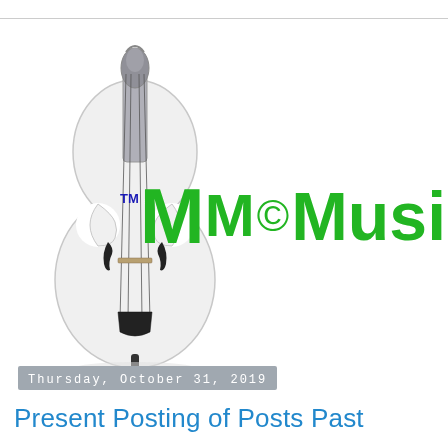[Figure (logo): TMM©Music logo with a white upright bass/cello instrument on the left and stylized green text reading TM M©Music beside it.]
Thursday, October 31, 2019
Present Posting of Posts Past